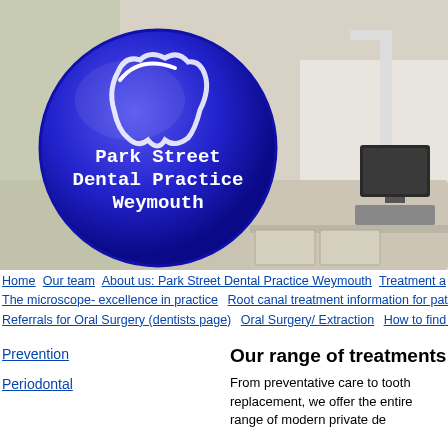[Figure (photo): Dental office interior with a desk, computer monitor, keyboard, and dental equipment. A large blue circular logo overlay reads 'Park Street Dental Practice Weymouth' with a tooth graphic.]
Home | Our team | About us: Park Street Dental Practice Weymouth | Treatment a... | The microscope- excellence in practice | Root canal treatment information for patie... | Referrals for Oral Surgery (dentists page) | Oral Surgery/ Extraction | How to find u...
Prevention
Periodontal
Our range of treatments
From preventative care to tooth replacement, we offer the entire range of modern private de...